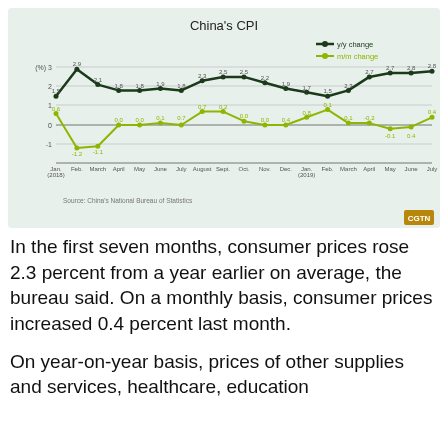[Figure (line-chart): China's CPI]
In the first seven months, consumer prices rose 2.3 percent from a year earlier on average, the bureau said. On a monthly basis, consumer prices increased 0.4 percent last month.
On year-on-year basis, prices of other supplies and services, healthcare, education